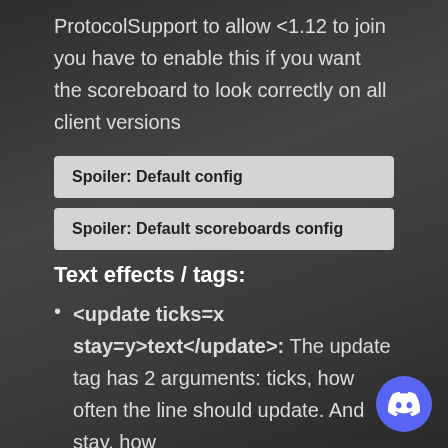ProtocolSupport to allow <1.12 to join you have to enable this if you want the scoreboard to look correctly on all client versions
Spoiler: Default config
Spoiler: Default scoreboards config
Text effects / tags:
<update ticks=x stay=y>text</update>: The update tag has 2 arguments: ticks, how often the line should update. And stay, how